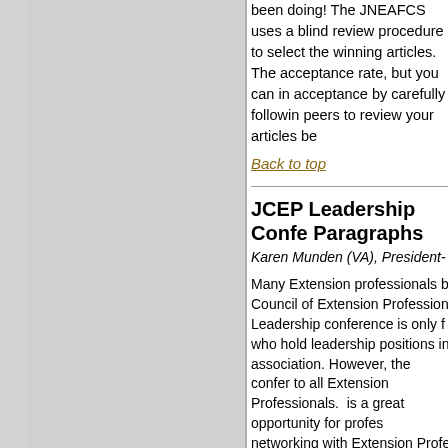been doing! The JNEAFCS uses a blind review procedure to select the winning articles. The acceptance rate, but you can increase your acceptance by carefully following guidelines and ask peers to review your articles before submitting!
Back to top
JCEP Leadership Conference Paragraphs
Karen Munden (VA), President-
Many Extension professionals believe that the Council of Extension Professionals (JCEP) Leadership conference is only for individuals who hold leadership positions in their state association. However, the conference is open to all Extension Professionals. The conference is a great opportunity for professional networking with Extension Professionals. Just as many NEAFCS professionals have attended the JCEP Leadership conference in the past, read the testimonies below as well as the JCEP conference link here.
Attending my first JCEP conference was an educational experience.  First attending the conference gave me a broader view of the Extension system as a whole as